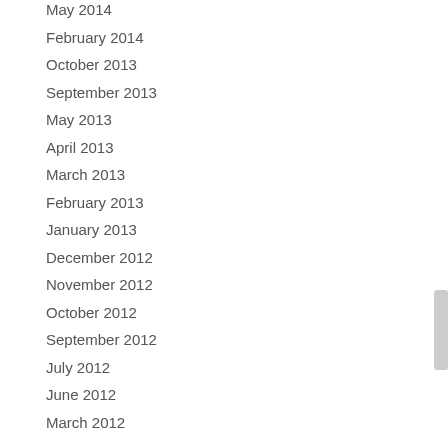May 2014
February 2014
October 2013
September 2013
May 2013
April 2013
March 2013
February 2013
January 2013
December 2012
November 2012
October 2012
September 2012
July 2012
June 2012
March 2012